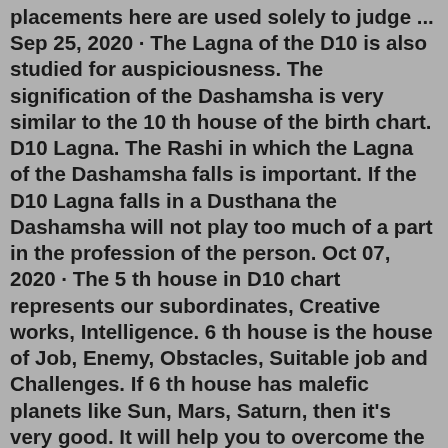placements here are used solely to judge ... Sep 25, 2020 · The Lagna of the D10 is also studied for auspiciousness. The signification of the Dashamsha is very similar to the 10 th house of the birth chart. D10 Lagna. The Rashi in which the Lagna of the Dashamsha falls is important. If the D10 Lagna falls in a Dusthana the Dashamsha will not play too much of a part in the profession of the person. Oct 07, 2020 · The 5 th house in D10 chart represents our subordinates, Creative works, Intelligence. 6 th house is the house of Job, Enemy, Obstacles, Suitable job and Challenges. If 6 th house has malefic planets like Sun, Mars, Saturn, then it's very good. It will help you to overcome the challenges and Difficulties. The 7 th house is the house of Business. To do this, you need to analyze the placement of the following 7 planets in the D-10 chart, they are: 1. Lord of the 10th house in the main birth chart So, first determine which planet is the lord of the 10th house in the main chart and then examine where is it placed in the D-10 chart. This would give you an indication of your career